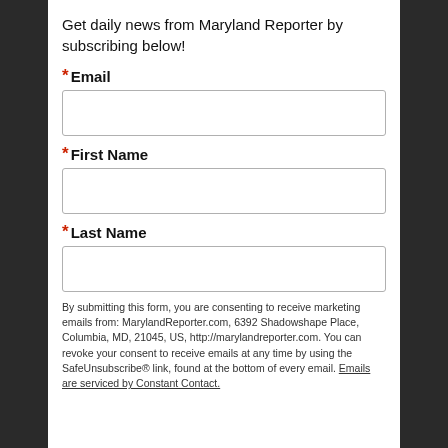Get daily news from Maryland Reporter by subscribing below!
* Email
* First Name
* Last Name
By submitting this form, you are consenting to receive marketing emails from: MarylandReporter.com, 6392 Shadowshape Place, Columbia, MD, 21045, US, http://marylandreporter.com. You can revoke your consent to receive emails at any time by using the SafeUnsubscribe® link, found at the bottom of every email. Emails are serviced by Constant Contact.